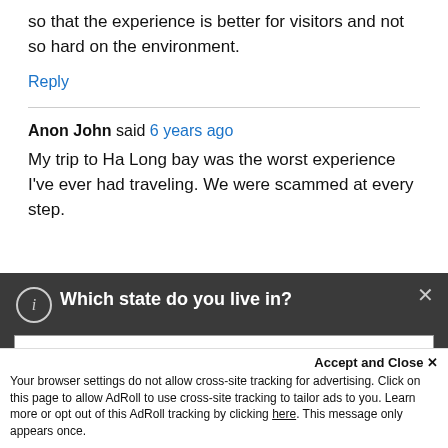so that the experience is better for visitors and not so hard on the environment.
Reply
Anon John said 6 years ago
My trip to Ha Long bay was the worst experience I've ever had traveling. We were scammed at every step.
[Figure (screenshot): Modal dialog with dark background asking 'Which state do you live in?' with a dropdown selector showing '———' and a Submit button in orange.]
Accept and Close ✕
Your browser settings do not allow cross-site tracking for advertising. Click on this page to allow AdRoll to use cross-site tracking to tailor ads to you. Learn more or opt out of this AdRoll tracking by clicking here. This message only appears once.